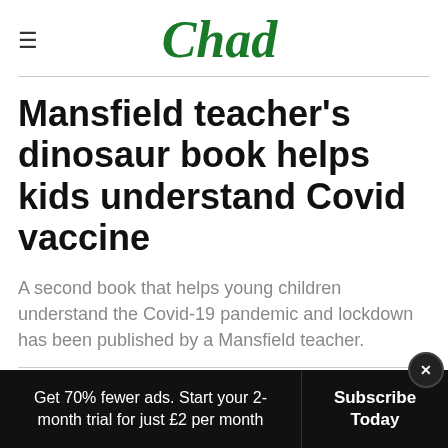Chad
Mansfield teacher's dinosaur book helps kids understand Covid vaccine
A second book that helps young children understand the Covid-19 pandemic and lockdown has been published by a Mansfield teacher.
Get 70% fewer ads. Start your 2-month trial for just £2 per month  Subscribe Today